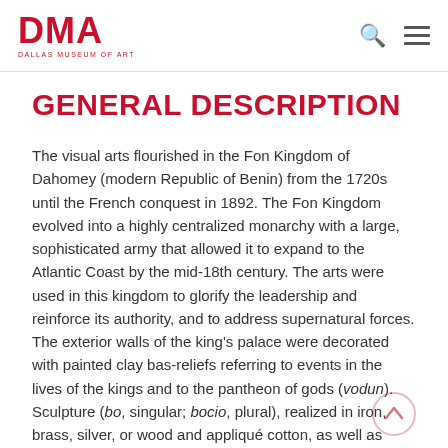DMA DALLAS MUSEUM OF ART
GENERAL DESCRIPTION
The visual arts flourished in the Fon Kingdom of Dahomey (modern Republic of Benin) from the 1720s until the French conquest in 1892. The Fon Kingdom evolved into a highly centralized monarchy with a large, sophisticated army that allowed it to expand to the Atlantic Coast by the mid-18th century. The arts were used in this kingdom to glorify the leadership and reinforce its authority, and to address supernatural forces. The exterior walls of the king's palace were decorated with painted clay bas-reliefs referring to events in the lives of the kings and to the pantheon of gods (vodun). Sculpture (bo, singular; bocio, plural), realized in iron, brass, silver, or wood and appliqué cotton, as well as pavilions, canopies, umbrellas, and banners made of silk cloth served the same purpose. Artists working in these various media were organized